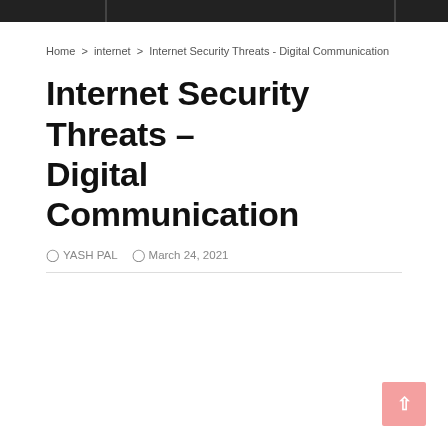Home > internet > Internet Security Threats - Digital Communication
Internet Security Threats - Digital Communication
YASH PAL   March 24, 2021